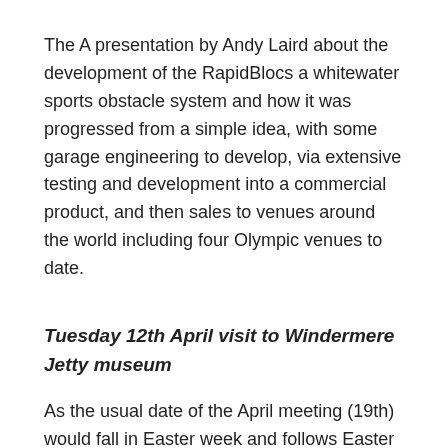The A presentation by Andy Laird about the development of the RapidBlocs a whitewater sports obstacle system and how it was progressed from a simple idea, with some garage engineering to develop, via extensive testing and development into a commercial product, and then sales to venues around the world including four Olympic venues to date.
Tuesday 12th April visit to Windermere Jetty museum
As the usual date of the April meeting (19th) would fall in Easter week and follows Easter Monday attendance is likely to be The visit to the Windermere Jetty Museum as a follow up to Stephen Beresford's excellent talk on the SL Osprey in February went very well. Unfortunately we just missed out on